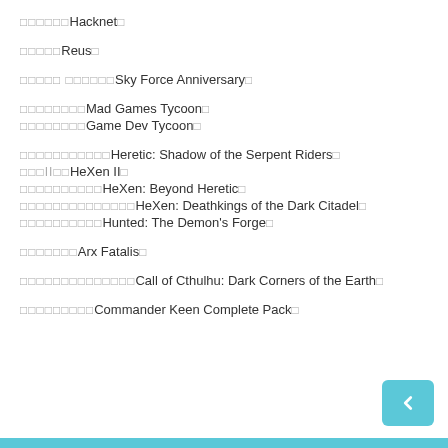□□□□□□Hacknet□
□□□□□Reus□
□□□□□ □□□□□□Sky Force Anniversary□
□□□□□□□□Mad Games Tycoon□
□□□□□□□□Game Dev Tycoon□
□□□□□□□□□□□Heretic: Shadow of the Serpent Riders□
□□□II□□HeXen II□
□□□□□□□□□□HeXen: Beyond Heretic□
□□□□□□□□□□□□□□HeXen: Deathkings of the Dark Citadel□
□□□□□□□□□□Hunted: The Demon's Forge□
□□□□□□□Arx Fatalis□
□□□□□□□□□□□□□□Call of Cthulhu: Dark Corners of the Earth□
□□□□□□□□□Commander Keen Complete Pack□